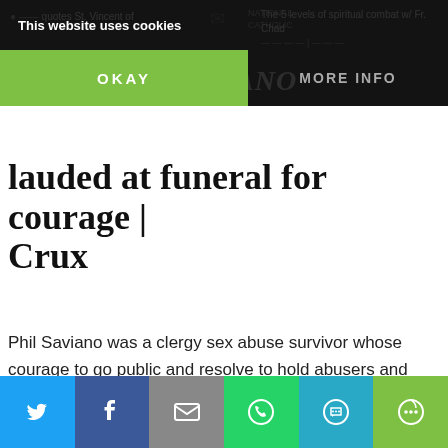This website uses cookies
[Figure (screenshot): Cookie consent banner with OKAY and MORE INFO buttons over dark website header showing article links]
lauded at funeral for courage | Crux
Phil Saviano was a clergy sex abuse survivor whose courage to go public and resolve to hold abusers and their
Continue reading »
Privacy & Cookies: This site uses cookies. By continuing to use this website, you agree to their use.
To find out more, including how to control cookies, see here: Cookie Policy
[Figure (screenshot): Social sharing bar with Twitter, Facebook, Email, WhatsApp, SMS, and More buttons]